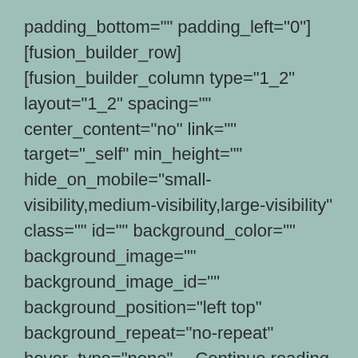padding_bottom="" padding_left="0"] [fusion_builder_row][fusion_builder_column type="1_2" layout="1_2" spacing="" center_content="no" link="" target="_self" min_height="" hide_on_mobile="small-visibility,medium-visibility,large-visibility" class="" id="" background_color="" background_image="" background_image_id="" background_position="left top" background_repeat="no-repeat" hover_type="none"… Continue reading
[Figure (screenshot): Facebook button/widget partially visible at the bottom of the page]